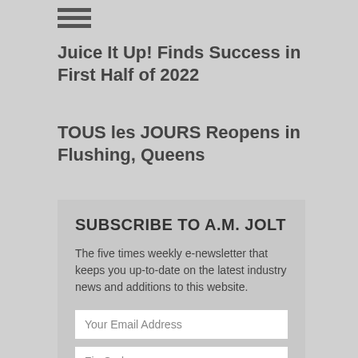[Figure (other): Hamburger menu icon with three horizontal lines]
Juice It Up! Finds Success in First Half of 2022
TOUS les JOURS Reopens in Flushing, Queens
SUBSCRIBE TO A.M. JOLT
The five times weekly e-newsletter that keeps you up-to-date on the latest industry news and additions to this website.
Your Email Address
Zip Code
SUBSCRIBE